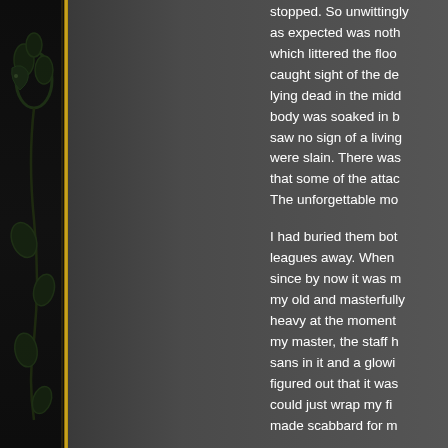[Figure (illustration): Left decorative panel with dark leather/book texture and gold vertical border line, with green dragon or vine motif overlay]
stopped. So unwittingly as expected was nothing which littered the floor caught sight of the de lying dead in the midd body was soaked in b saw no sign of a living were slain. There was that some of the attac The unforgettable mo

I had buried them bot leagues away. When since by now it was m my old and masterfully heavy at the moment my master, the staff h sans in it and a glowi figured out that it was could just wrap my fi made scabbard for m

When I read the note you with these items. it will join with it. It is r the dragon claws on t height and of normal